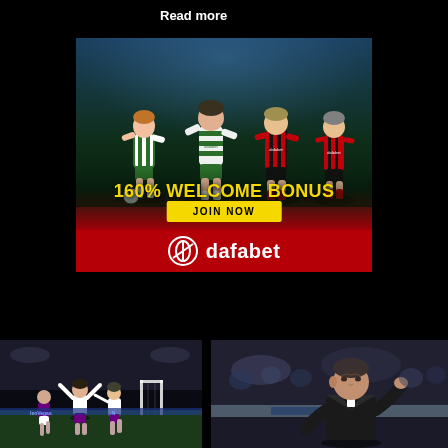Read more
[Figure (illustration): Dafabet sports betting advertisement banner featuring football players in Celtic and Bournemouth jerseys with text '160% WELCOME BONUS', 'JOIN NOW' button, and Dafabet logo on red bar]
[Figure (photo): Football match scene with players celebrating a goal, dark stadium background]
[Figure (photo): Football manager gesturing on the sideline, crowd in background]